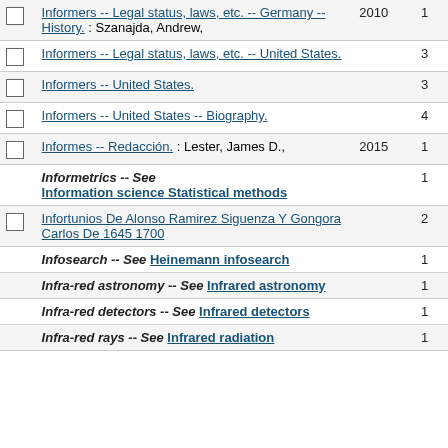|  | Entry | Year | Count |
| --- | --- | --- | --- |
| ☐ | Informers -- Legal status, laws, etc. -- Germany -- History. : Szanajda, Andrew, | 2010 | 1 |
| ☐ | Informers -- Legal status, laws, etc. -- United States. |  | 3 |
| ☐ | Informers -- United States. |  | 3 |
| ☐ | Informers -- United States -- Biography. |  | 4 |
| ☐ | Informes -- Redacción. : Lester, James D., | 2015 | 1 |
|  | Informetrics -- See Information science Statistical methods |  | 1 |
| ☐ | Infortunios De Alonso Ramirez Siguenza Y Gongora Carlos De 1645 1700 |  | 2 |
|  | Infosearch -- See Heinemann infosearch |  | 1 |
|  | Infra-red astronomy -- See Infrared astronomy |  | 1 |
|  | Infra-red detectors -- See Infrared detectors |  | 1 |
|  | Infra-red rays -- See Infrared radiation |  | 1 |